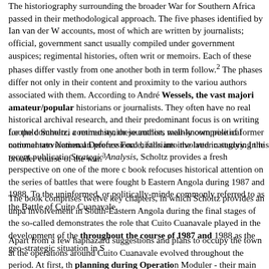The historiography surrounding the broader War for Southern Africa passed in their methodological approach. The five phases identified by Ian van der W accounts, most of which are written by journalists; official, government sanct usually compiled under government auspices; regimental histories, often writ or memoirs. Each of these phases differ vastly from one another both in term follow.2 The phases differ not only in their content and proximity to the variou authors associated with them. According to André Wessels, the vast majori amateur/popular historians or journalists. They often have no real historical archival research, and their predominant focus is on writing for the commerci community, these authors mainly comprise of former national servicemen an professional historians involved in studying the broader course of the war.3
Leopold Scholtz, a retired senior journalist, well-known political commentator National Defence Force, falls into the latter category. In his recent publicatio Strategic Analysis, Scholtz provides a fresh perspective on one of the more c book refocuses historical attention on the series of battles that were fought b Eastern Angola during 1987 and 1988. To the uninformed, or politically-minde commonly referred to as the Battle of Cuito Cuanavale.
The book comprises twelve key chapters, in which Scholtz provides an unpa involvement in South-Eastern Angola during the final stages of the so-called demonstrates the role that Cuito Cuanavale played in the development of the throughout the course of 1987 and 1988 as the geo-strategic situation in S
Apart from a few haphazard suggestions and plans to occupy the town at the operations around Cuito Cuanavale evolved throughout the period. At first, th planning during Operation Moduler - their main aim was simply to halt the b Once the FAPLA offensive had been halted after the Battle of the Lomba, se Cuito Cuanavale. For a fleeting moment the idea was considered, especially counteroffensive towards the end of September 1987. Such an operation wo